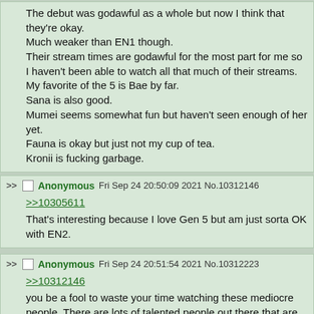The debut was godawful as a whole but now I think that they're okay.
Much weaker than EN1 though.
Their stream times are godawful for the most part for me so I haven't been able to watch all that much of their streams.
My favorite of the 5 is Bae by far.
Sana is also good.
Mumei seems somewhat fun but haven't seen enough of her yet.
Fauna is okay but just not my cup of tea.
Kronii is fucking garbage.
Anonymous Fri Sep 24 20:50:09 2021 No.10312146
>>10305611
That's interesting because I love Gen 5 but am just sorta OK with EN2.
Anonymous Fri Sep 24 20:51:54 2021 No.10312223
>>10312146
you be a fool to waste your time watching these mediocre people. There are lots of talented people out there that are worth your time. You don't know